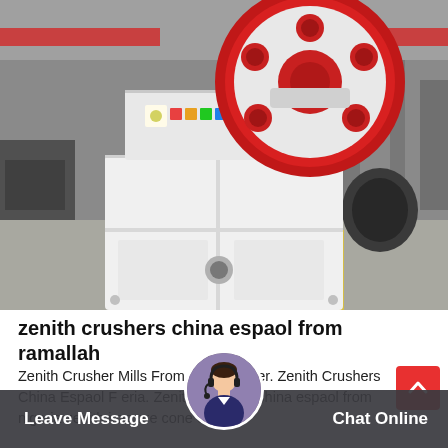[Figure (photo): Industrial jaw crusher machine (white body with large red flywheel) photographed in a factory/warehouse setting. The crusher has a distinctive red circular flywheel with spoke cutouts at the top, and a white rectangular body with structural chambers below. Factory interior with overhead cranes visible in background.]
zenith crushers china espaol from ramallah
Zenith Crusher Mills From Jaw Crusher. Zenith Crushers China Espaol From Nigeria. Zenith crushers china espaol from nigeria zenith iron ore cone crusher